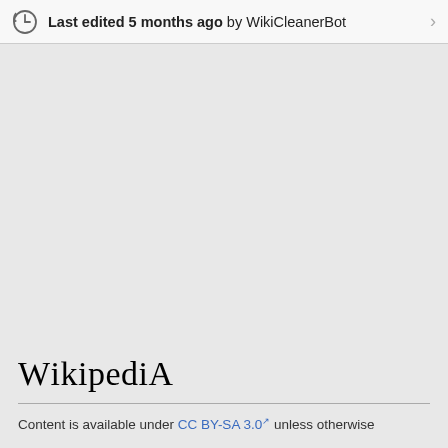Last edited 5 months ago by WikiCleanerBot
[Figure (other): Large gray empty area, likely a placeholder for an image or map that did not load]
Wikipedia
Content is available under CC BY-SA 3.0 unless otherwise